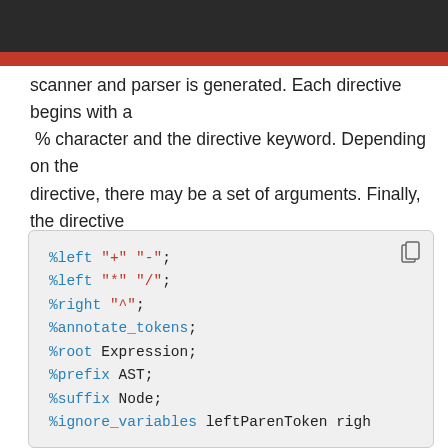scanner and parser is generated. Each directive begins with a % character and the directive keyword. Depending on the directive, there may be a set of arguments. Finally, the directive is terminated with a semicolon character, ; as shown below:
[Figure (screenshot): Code block showing grammar directives: %left "+" "-"; %left "*" "/"; %right "^"; %annotate_tokens; %root Expression; %prefix AST; %suffix Node; %ignore_variables leftParenToken righ...]
Start Symbols
By default, the left-hand side of the first grammar rule is the start symbol. If you want to multiple start symbols, you can